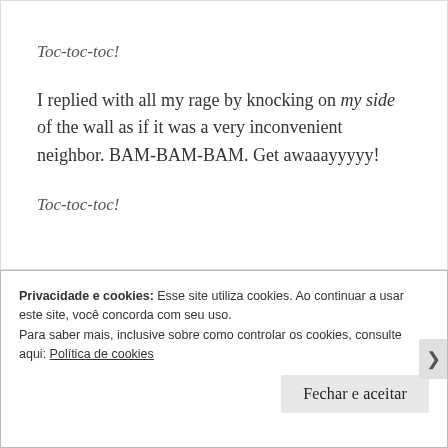Toc-toc-toc!
I replied with all my rage by knocking on my side of the wall as if it was a very inconvenient neighbor. BAM-BAM-BAM. Get awaaayyyyy!
Toc-toc-toc!
Privacidade e cookies: Esse site utiliza cookies. Ao continuar a usar este site, você concorda com seu uso.
Para saber mais, inclusive sobre como controlar os cookies, consulte aqui: Política de cookies
Fechar e aceitar